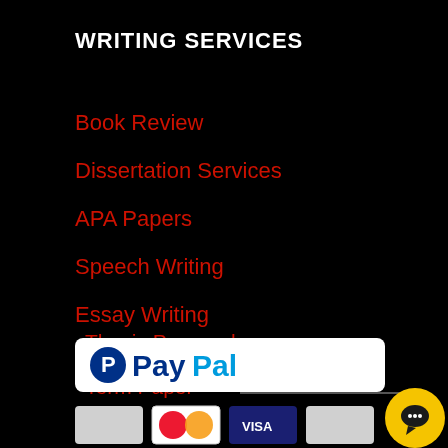WRITING SERVICES
Book Review
Dissertation Services
APA Papers
Speech Writing
Essay Writing
Research Paper
Thesis Proposal
Term Paper
[Figure (logo): PayPal logo with white rounded rectangle background, and credit card logos (Visa, Mastercard, etc.) below it. A yellow chat bubble icon is in the bottom-right corner.]